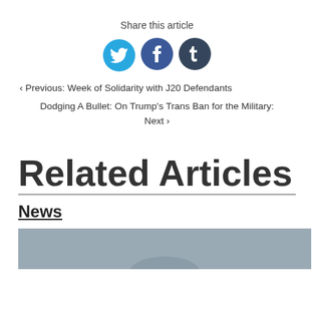Share this article
[Figure (illustration): Three social media icon circles: Twitter (blue), Facebook (dark blue), Tumblr (dark navy)]
‹ Previous: Week of Solidarity with J20 Defendants
Dodging A Bullet: On Trump's Trans Ban for the Military: Next ›
Related Articles
News
[Figure (photo): Partial image of an article thumbnail with grey background]